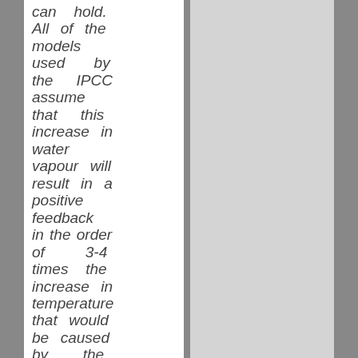can hold. All of the models used by the IPCC assume that this increase in water vapour will result in a positive feedback in the order of 3-4 times the increase in temperature that would be caused by the